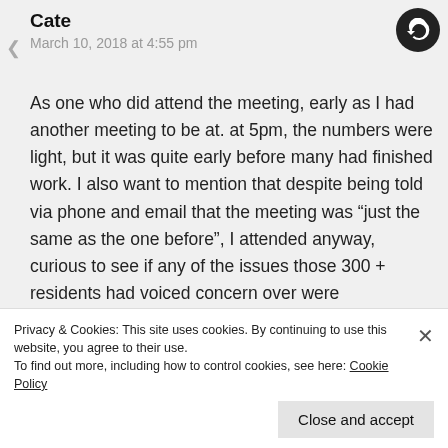Cate
March 10, 2018 at 4:55 pm
As one who did attend the meeting, early as I had another meeting to be at. at 5pm, the numbers were light, but it was quite early before many had finished work. I also want to mention that despite being told via phone and email that the meeting was “just the same as the one before”, I attended anyway, curious to see if any of the issues those 300 + residents had voiced concern over were acknowledged, let alone addressed. Most of the display signs were the same, a new major one greeting us on arrival to inform us that no recording filming, etc. etc.
Privacy & Cookies: This site uses cookies. By continuing to use this website, you agree to their use.
To find out more, including how to control cookies, see here: Cookie Policy
Close and accept